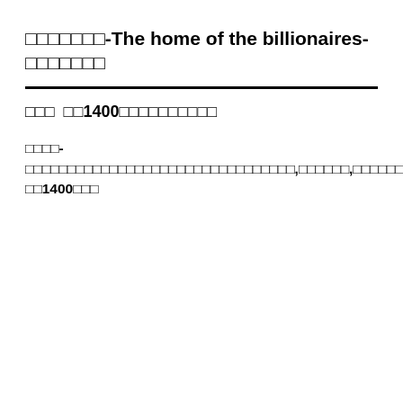□□□□□□□-The home of the billionaires-□□□□□□□
□□□ □□1400□□□□□□□□□□□
□□□□-□□□□□□□□□□□□□□□□□□□□□□□□□□□□□□□□,□□□□□□,□□□□□□□□□□□□□□,□□□□□□,□□□□□□□□□□,□□□□□□□,□□□□□□□□□□□□□□□□□□□□□□□□□□□□□□□□□□□□□,□□□□□□□□□□□□□□□□,□34.7□□□□□□□□□□□□□□.-□□1400□□□